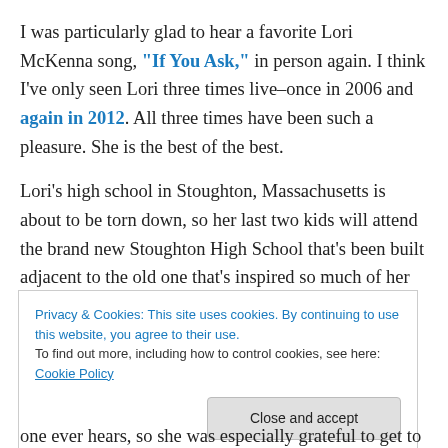I was particularly glad to hear a favorite Lori McKenna song, "If You Ask," in person again. I think I've only seen Lori three times live–once in 2006 and again in 2012. All three times have been such a pleasure. She is the best of the best.
Lori's high school in Stoughton, Massachusetts is about to be torn down, so her last two kids will attend the brand new Stoughton High School that's been built adjacent to the old one that's inspired so much of her songwriting. She told us there was never a timeframe that would have made
Privacy & Cookies: This site uses cookies. By continuing to use this website, you agree to their use. To find out more, including how to control cookies, see here: Cookie Policy
Close and accept
one ever hears, so she was especially grateful to get to